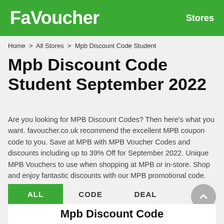FaVoucher   Stores
Home > All Stores > Mpb Discount Code Student
Mpb Discount Code Student September 2022
Are you looking for MPB Discount Codes? Then here's what you want. favoucher.co.uk recommend the excellent MPB coupon code to you. Save at MPB with MPB Voucher Codes and discounts including up to 39% Off for September 2022. Unique MPB Vouchers to use when shopping at MPB or in-store. Shop and enjoy fantastic discounts with our MPB promotional code.
ALL   CODE   DEAL
Mpb Discount Code